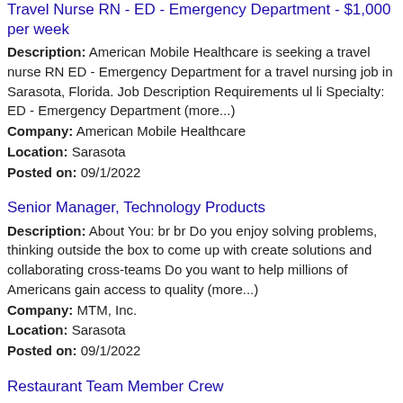Travel Nurse RN - ED - Emergency Department - $1,000 per week
Description: American Mobile Healthcare is seeking a travel nurse RN ED - Emergency Department for a travel nursing job in Sarasota, Florida. Job Description Requirements ul li Specialty: ED - Emergency Department (more...)
Company: American Mobile Healthcare
Location: Sarasota
Posted on: 09/1/2022
Senior Manager, Technology Products
Description: About You: br br Do you enjoy solving problems, thinking outside the box to come up with create solutions and collaborating cross-teams Do you want to help millions of Americans gain access to quality (more...)
Company: MTM, Inc.
Location: Sarasota
Posted on: 09/1/2022
Restaurant Team Member Crew
Description: Restaurant Team Member - Crew 1040 - Sarasota 22017482 br DescriptionCULTIVATING A BETTER WORLDFood served fast doesn't have to be a typical fast food experience. Chipotle has always done things (more...)